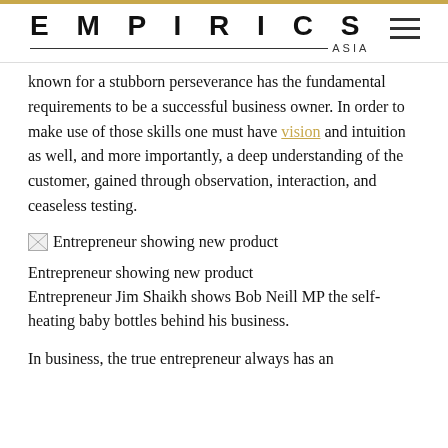EMPIRICS ASIA
known for a stubborn perseverance has the fundamental requirements to be a successful business owner. In order to make use of those skills one must have vision and intuition as well, and more importantly, a deep understanding of the customer, gained through observation, interaction, and ceaseless testing.
[Figure (photo): Broken image placeholder labeled 'Entrepreneur showing new product']
Entrepreneur showing new product
Entrepreneur Jim Shaikh shows Bob Neill MP the self-heating baby bottles behind his business.
In business, the true entrepreneur always has an